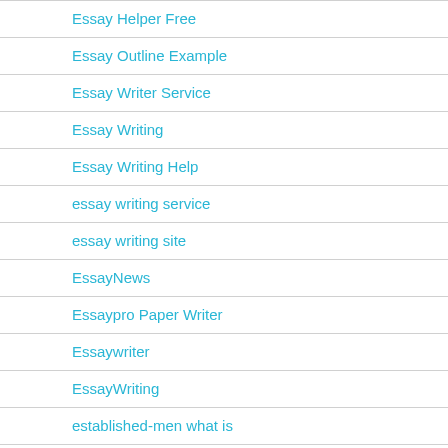Essay Helper Free
Essay Outline Example
Essay Writer Service
Essay Writing
Essay Writing Help
essay writing service
essay writing site
EssayNews
Essaypro Paper Writer
Essaywriter
EssayWriting
established-men what is